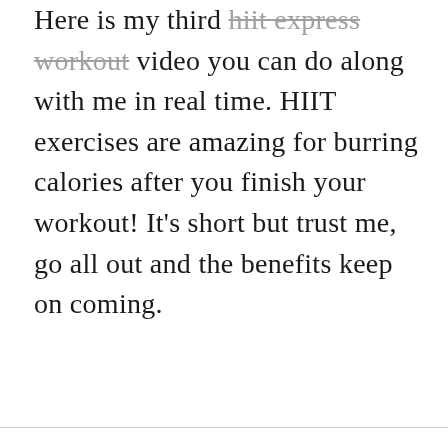Here is my third hiit express workout video you can do along with me in real time. HIIT exercises are amazing for burring calories after you finish your workout! It's short but trust me, go all out and the benefits keep on coming.